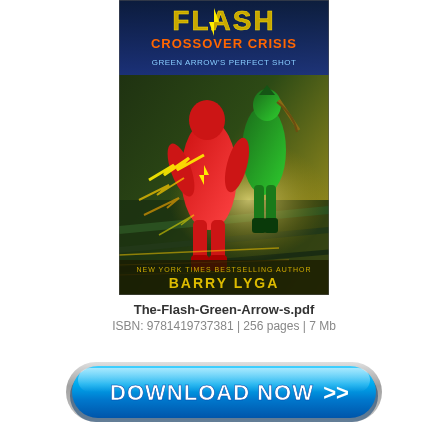[Figure (illustration): Book cover for 'The Flash: Crossover Crisis - Green Arrow's Perfect Shot' by Barry Lyga. Shows The Flash in red costume running with lightning effects, and Green Arrow in green costume behind him. Title text at top reads FLASH CROSSOVER CRISIS. Author name Barry Lyga at bottom.]
The-Flash-Green-Arrow-s.pdf
ISBN: 9781419737381 | 256 pages | 7 Mb
[Figure (other): A large blue glossy download button with text 'DOWNLOAD NOW >>' and double chevron arrows, styled with metallic silver border and gradient blue background.]